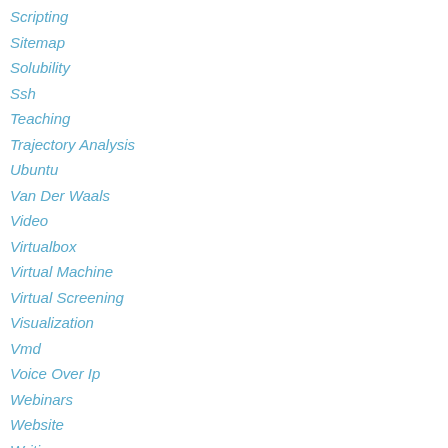Scripting
Sitemap
Solubility
Ssh
Teaching
Trajectory Analysis
Ubuntu
Van Der Waals
Video
Virtualbox
Virtual Machine
Virtual Screening
Visualization
Vmd
Voice Over Ip
Webinars
Website
Writing
Xmgrace
RSS Feed